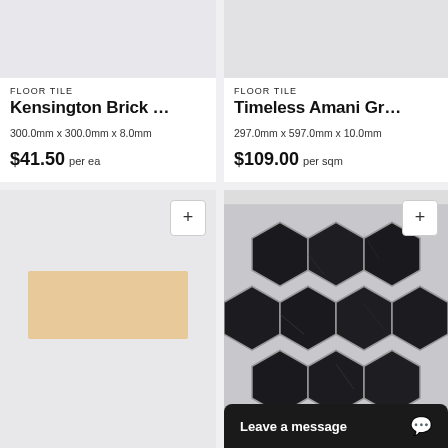[Figure (photo): Top portion of a floor tile product image (light grey/white tile), cropped at top]
FLOOR TILE
Kensington Brick …
300.0mm x 300.0mm x 8.0mm
$41.50 per ea
[Figure (photo): Top portion of a floor tile product image (grey/beige tile), cropped at top]
FLOOR TILE
Timeless Amani Gr…
297.0mm x 597.0mm x 10.0mm
$109.00 per sqm
[Figure (photo): Beige/cream rectangular floor tile swatch on light grey background with plus button]
[Figure (photo): Black marble hexagon mosaic tile pattern on grey background with plus button]
Leave a message